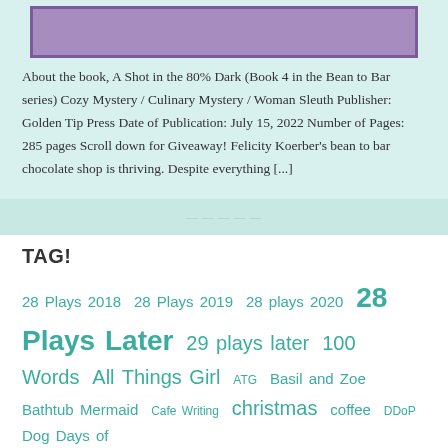[Figure (photo): Book cover image for 'A Shot in the 80% Dark' with purple border]
About the book, A Shot in the 80% Dark (Book 4 in the Bean to Bar series) Cozy Mystery / Culinary Mystery / Woman Sleuth Publisher: Golden Tip Press Date of Publication: July 15, 2022 Number of Pages: 285 pages Scroll down for Giveaway! Felicity Koerber's bean to bar chocolate shop is thriving. Despite everything [...]
TAG!
28 Plays 2018 28 Plays 2019 28 plays 2020 28 Plays Later 29 plays later 100 Words All Things Girl ATG Basil and Zoe Bathtub Mermaid Cafe Writing christmas coffee DDoP Dog Days of Podcasting DogDaysofPodcasting dogs Elseblog Flash-Fic Flash-fiction Flashfic FlashFiction Flash Prompt Holidailies Holidailies 2008 Holidailies 2013